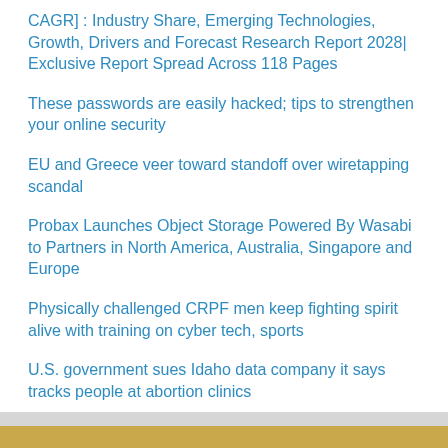CAGR] : Industry Share, Emerging Technologies, Growth, Drivers and Forecast Research Report 2028| Exclusive Report Spread Across 118 Pages
These passwords are easily hacked; tips to strengthen your online security
EU and Greece veer toward standoff over wiretapping scandal
Probax Launches Object Storage Powered By Wasabi to Partners in North America, Australia, Singapore and Europe
Physically challenged CRPF men keep fighting spirit alive with training on cyber tech, sports
U.S. government sues Idaho data company it says tracks people at abortion clinics